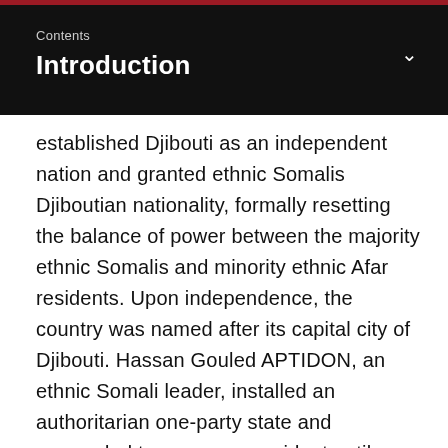Contents
Introduction
established Djibouti as an independent nation and granted ethnic Somalis Djiboutian nationality, formally resetting the balance of power between the majority ethnic Somalis and minority ethnic Afar residents. Upon independence, the country was named after its capital city of Djibouti. Hassan Gouled APTIDON, an ethnic Somali leader, installed an authoritarian one-party state and proceeded to serve as president until 1999. Unrest between the Afar minority and Somali majority culminated in a civil war during the 1990s that ended in 2001 with a peace accord between Afar rebels and the Somali Issa-dominated government. In 1999,